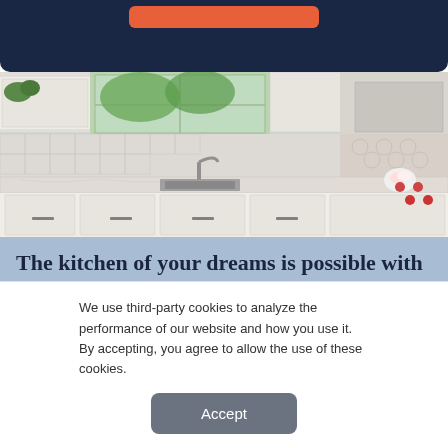[Figure (screenshot): Dark navy banner with an orange button at the top, partially visible]
[Figure (photo): Interior photo of a bright, modern white kitchen with white cabinetry, marble countertops, a farmhouse sink, tile backsplash, and flowers on the island]
The kitchen of your dreams is possible with planning.
Click here to get started with our
We use third-party cookies to analyze the performance of our website and how you use it. By accepting, you agree to allow the use of these cookies.
Accept